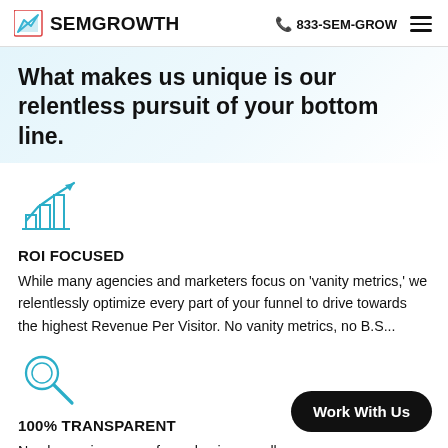SEMGROWTH  833-SEM-GROW
What makes us unique is our relentless pursuit of your bottom line.
[Figure (illustration): Bar chart with upward trending arrow icon in teal/blue color]
ROI FOCUSED
While many agencies and marketers focus on 'vanity metrics,' we relentlessly optimize every part of your funnel to drive towards the highest Revenue Per Visitor. No vanity metrics, no B.S...
[Figure (illustration): Magnifying glass / search icon in teal/blue color]
100% TRANSPARENT